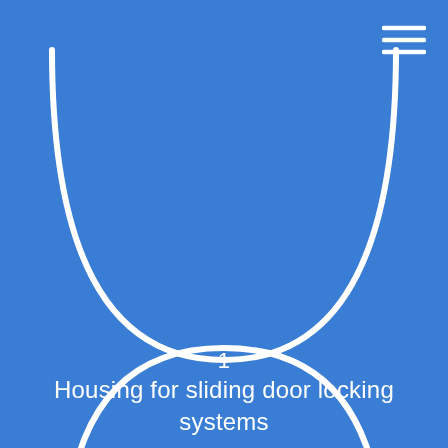[Figure (illustration): White outlined semicircle (open at top) centered in the upper portion of the blue background, representing a housing design element]
1
Housing for sliding door locking systems
[Figure (illustration): White outlined semicircle (open at bottom) appearing at the bottom of the page, partially cropped]
[Figure (illustration): Hamburger menu icon (three white horizontal lines) in the top-right corner]